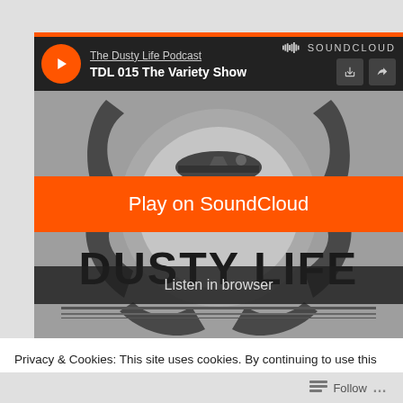[Figure (screenshot): SoundCloud embedded player showing 'The Dusty Life Podcast' episode 'TDL 015 The Variety Show'. The player has a dark header bar with play button, podcast name, episode name, SoundCloud logo. Below is the podcast artwork showing a gear/saw blade graphic with 'THE DUSTY LIFE' text. An orange 'Play on SoundCloud' button overlays the artwork, and a dark 'Listen in browser' bar appears below it.]
Privacy & Cookies: This site uses cookies. By continuing to use this website, you agree to their use.
To find out more, including how to control cookies, see here:
Cookie Policy
Close and accept
Follow ...